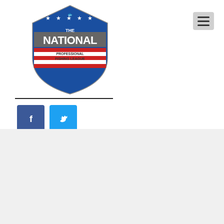[Figure (logo): The National Professional Fishing League shield logo at top]
[Figure (other): Hamburger menu icon (three horizontal lines) in gray box]
[Figure (other): Facebook share button (dark blue square with 'f' icon) and Twitter share button (light blue square with bird icon)]
admin   August 13, 2021   11:30 am
[Figure (logo): The National Professional Fishing League shield logo (smaller version)]
THE LEAGUE